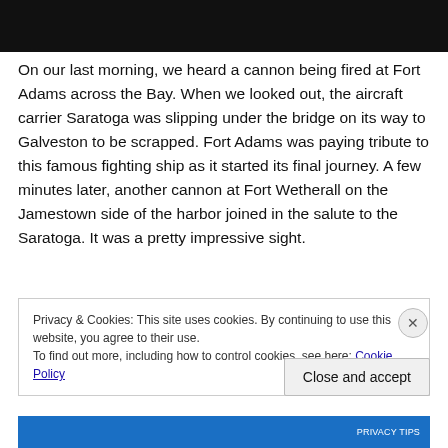[Figure (photo): Dark photograph strip at top of page, showing a nighttime or dimly lit scene]
On our last morning, we heard a cannon being fired at Fort Adams across the Bay. When we looked out, the aircraft carrier Saratoga was slipping under the bridge on its way to Galveston to be scrapped. Fort Adams was paying tribute to this famous fighting ship as it started its final journey. A few minutes later, another cannon at Fort Wetherall on the Jamestown side of the harbor joined in the salute to the Saratoga. It was a pretty impressive sight.
Privacy & Cookies: This site uses cookies. By continuing to use this website, you agree to their use.
To find out more, including how to control cookies, see here: Cookie Policy